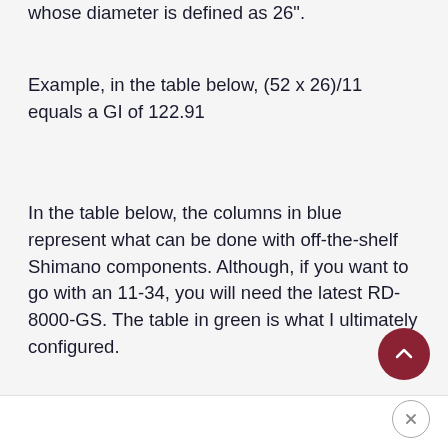whose diameter is defined as 26".
Example, in the table below, (52 x 26)/11 equals a GI of 122.91
In the table below, the columns in blue represent what can be done with off-the-shelf Shimano components. Although, if you want to go with an 11-34, you will need the latest RD-8000-GS. The table in green is what I ultimately configured.